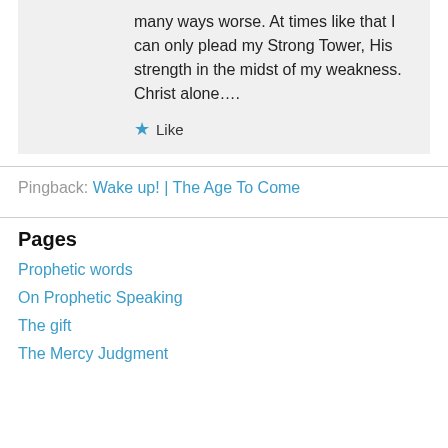many ways worse. At times like that I can only plead my Strong Tower, His strength in the midst of my weakness. Christ alone….
★ Like
Pingback: Wake up! | The Age To Come
Pages
Prophetic words
On Prophetic Speaking
The gift
The Mercy Judgment